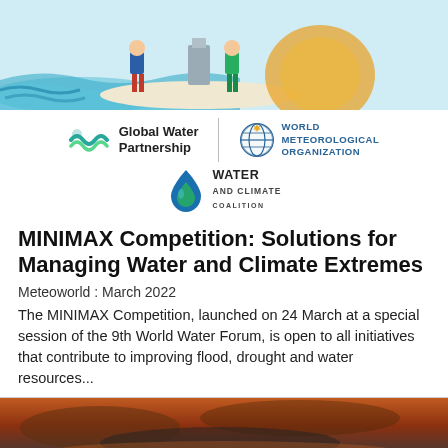[Figure (illustration): Top banner illustration showing people near water and a globe/earth, colorful cartoon style with blue water waves, green and orange elements.]
[Figure (logo): Global Water Partnership logo with teal wave icon and bold text 'Global Water Partnership']
[Figure (logo): World Meteorological Organization logo with globe/compass icon and text 'WORLD METEOROLOGICAL ORGANIZATION' in blue]
[Figure (logo): Water and Climate Coalition logo with blue flame/water drop icon and bold text 'WATER AND CLIMATE COALITION']
MINIMAX Competition: Solutions for Managing Water and Climate Extremes
Meteoworld : March 2022
The MINIMAX Competition, launched on 24 March at a special session of the 9th World Water Forum, is open to all initiatives that contribute to improving flood, drought and water resources...
[Figure (photo): Bottom photo showing a dramatic orange-red sunset or fire sky with dark smoky atmosphere.]